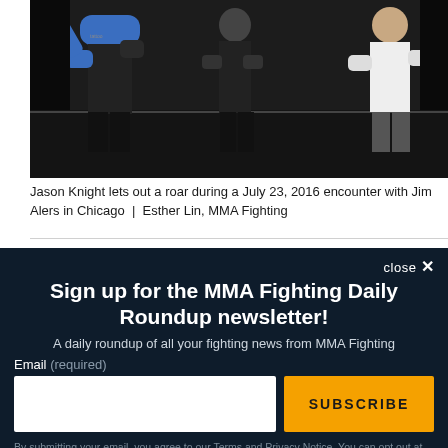[Figure (photo): MMA fighters in action, one in blue and black gear, another in black, referee visible in background]
Jason Knight lets out a roar during a July 23, 2016 encounter with Jim Alers in Chicago | Esther Lin, MMA Fighting
close ×
Sign up for the MMA Fighting Daily Roundup newsletter!
A daily roundup of all your fighting news from MMA Fighting
Email (required)
SUBSCRIBE
By submitting your email, you agree to our Terms and Privacy Notice. You can opt out at any time. This site is protected by reCAPTCHA and the Google Privacy Policy and Terms of Service apply.